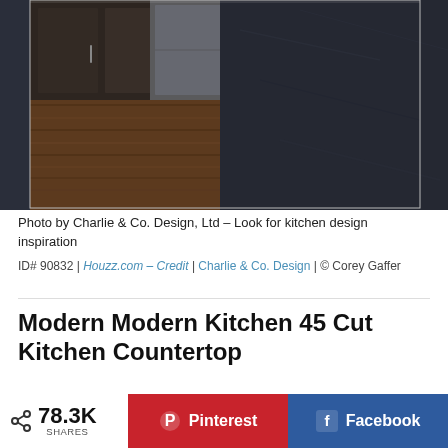[Figure (photo): Kitchen photo showing dark wood floor, dark flat-panel cabinets, stainless appliances on the left, and a close-up of a dark stone/granite countertop surface on the right.]
Photo by Charlie & Co. Design, Ltd – Look for kitchen design inspiration
ID# 90832 | Houzz.com – Credit | Charlie & Co. Design | © Corey Gaffer
Modern Modern Kitchen 45 Cut Kitchen Countertop
Minimalist dark wood floor kitchen, flat-panel dark